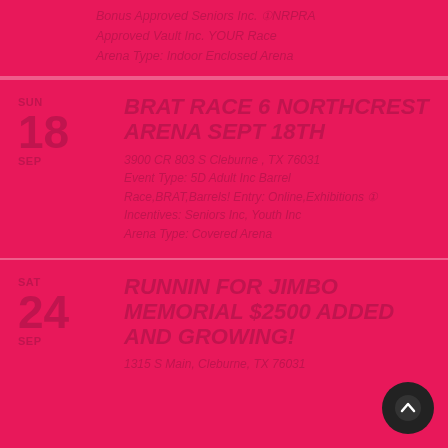Bonus Approved Seniors Inc. NRPRA Approved Youth Inc. YOUR Race Arena Type: Indoor Enclosed Arena
BRAT RACE 6 NORTHCREST ARENA SEPT 18TH
SUN 18 SEP
3900 CR 803 S Cleburne , TX 76031 Event Type: 5D Adult Inc Barrel Race,BRAT,Barrels! Entry: Online,Exhibitions Incentives: Seniors Inc, Youth Inc Arena Type: Covered Arena
RUNNIN FOR JIMBO MEMORIAL $2500 ADDED AND GROWING!
SAT 24 SEP
1315 S Main, Cleburne, TX 76031